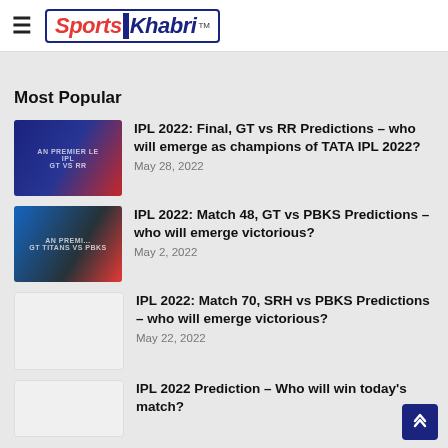Sports Khabri
Most Popular
[Figure (photo): IPL 2022 Final GT vs RR team photo thumbnail]
IPL 2022: Final, GT vs RR Predictions – who will emerge as champions of TATA IPL 2022? May 28, 2022
[Figure (photo): IPL 2022 Match 48 GT vs PBKS team photo thumbnail]
IPL 2022: Match 48, GT vs PBKS Predictions – who will emerge victorious? May 2, 2022
[Figure (photo): IPL 2022 Match 70 SRH vs PBKS thumbnail placeholder]
IPL 2022: Match 70, SRH vs PBKS Predictions – who will emerge victorious? May 22, 2022
[Figure (photo): IPL 2022 Prediction thumbnail placeholder]
IPL 2022 Prediction – Who will win today's match?